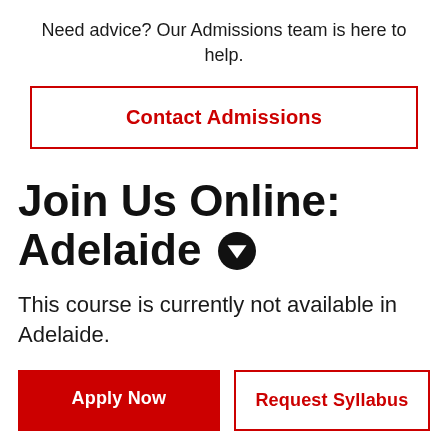Need advice? Our Admissions team is here to help.
Contact Admissions
Join Us Online: Adelaide ▼
This course is currently not available in Adelaide.
Apply Now
Request Syllabus